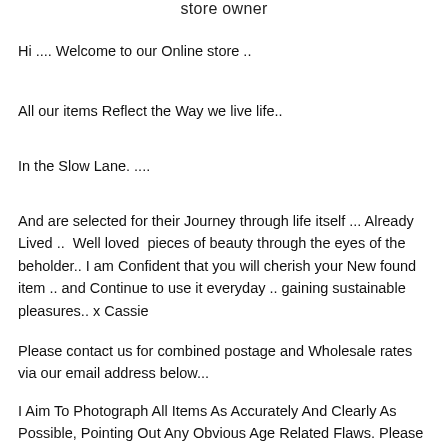store owner
Hi .... Welcome to our Online store ..
All our items Reflect the Way we live life..
In the Slow Lane. ....
And are selected for their Journey through life itself ... Already Lived ..  Well loved  pieces of beauty through the eyes of the beholder.. I am Confident that you will cherish your New found item .. and Continue to use it everyday .. gaining sustainable pleasures.. x Cassie
Please contact us for combined postage and Wholesale rates via our email address below...
I Aim To Photograph All Items As Accurately And Clearly As Possible, Pointing Out Any Obvious Age Related Flaws. Please Note That I Specialise In Vintage And Antiques, Some Items May